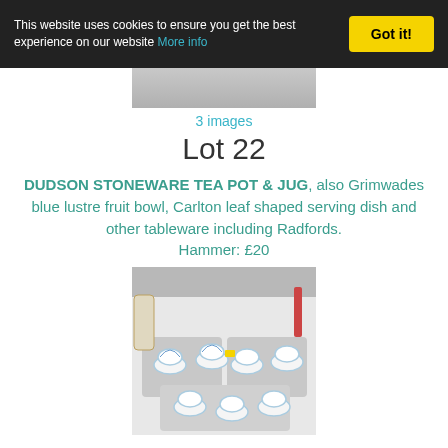This website uses cookies to ensure you get the best experience on our website More info | Got it!
3 images
Lot 22
DUDSON STONEWARE TEA POT & JUG, also Grimwades blue lustre fruit bowl, Carlton leaf shaped serving dish and other tableware including Radfords.
Hammer: £20
[Figure (photo): Photo of blue and white china cups, saucers and tableware arranged on a table]